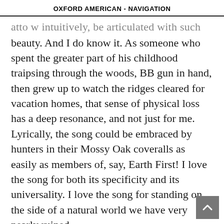OXFORD AMERICAN - NAVIGATION
...intuitively, be articulated with such beauty. And I do know it. As someone who spent the greater part of his childhood traipsing through the woods, BB gun in hand, then grew up to watch the ridges cleared for vacation homes, that sense of physical loss has a deep resonance, and not just for me. Lyrically, the song could be embraced by hunters in their Mossy Oak coveralls as easily as members of, say, Earth First! I love the song for both its specificity and its universality. I love the song for standing on the side of a natural world we have very nearly ruined.